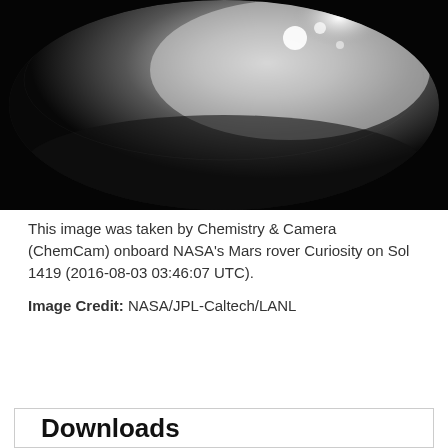[Figure (photo): Grayscale fisheye lens photo taken by ChemCam onboard NASA's Mars rover Curiosity. Shows a circular lens view with bright glare/light on the upper right portion against a dark background, with a textured surface visible.]
This image was taken by Chemistry & Camera (ChemCam) onboard NASA's Mars rover Curiosity on Sol 1419 (2016-08-03 03:46:07 UTC).
Image Credit: NASA/JPL-Caltech/LANL
ENLARGE
Downloads